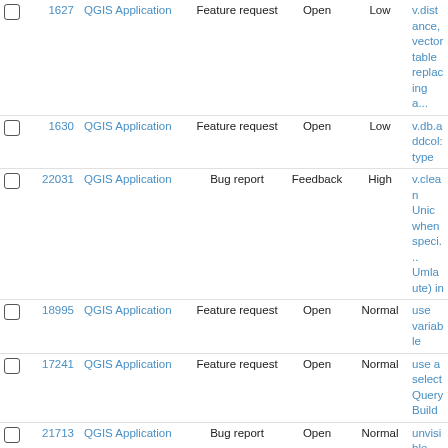|  | # | Project | Type | Status | Priority | Subject |
| --- | --- | --- | --- | --- | --- | --- |
|  | 1627 | QGIS Application | Feature request | Open | Low | v.distance, vector table replacing a... |
|  | 1630 | QGIS Application | Feature request | Open | Low | v.db.addcol: type |
|  | 22031 | QGIS Application | Bug report | Feedback | High | v.clean Unic when speci... Umlaute) in |
|  | 18995 | QGIS Application | Feature request | Open | Normal | use variable |
|  | 17241 | QGIS Application | Feature request | Open | Normal | use a select Query Build |
|  | 21713 | QGIS Application | Bug report | Open | Normal | unvisible m... specific bac |
|  | 20965 | QGIS Application | Bug report | Open | Normal | unsaved fea after "Makin temporary s |
|  | 21653 | QGIS Application | Bug report | Feedback | High | unexpected |
|  | 14679 | QGIS Application | Feature request | Open | Normal | travis tested |
|  | 10266 | QGIS Application | Feature request | Open | Normal | transportatio managemer |
|  | 21719 | QGIS Application | Feature request | Open | Normal | trace/stream |
|  | 8913 | QGIS Application | Feature request | Open | Normal | tools algorit |
|  | 14099 | QGIS Application | Feature request | Open | Normal | toggle butto toolbar or el |
|  | 21924 | QGIS Application | Bug report | Feedback | Normal | the r.neighb not work |
|  | 21736 | QGIS Application | Bug report | Feedback | Normal | the options enter key |
|  | 10158 | QGIS Application | Feature request | Open | Normal | the identit |